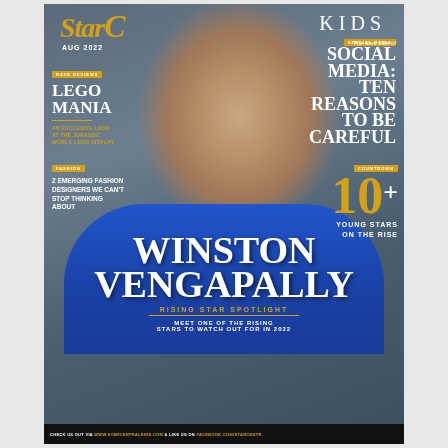StarCentral KIDS — AUG 2022
WINSTON VENGAPALLY
RAVE REVIEWS — LEGO MANIA — AN EXCLUSIVE LOOK AT THE JURASSIC WORLD LEGO DISPLAY
FASHION — 2 EMERGING FASHION DESIGNERS WE CAN'T STOP THINKING ABOUT
SPECIAL MEDIA — The dark side of SOCIAL MEDIA: TEN REASONS TO BE CAREFUL
COUNTDOWN 10+ YOUNG STARS ON THE RISE
RISING STAR SPOTLIGHT
MEET ONE OF THE RISING STARS TO WATCH OUT FOR IN 2022
CHECK US OUT VIA WWW.STARCENTRALKIDS.COM & LIKE US ON FACEBOOK.COM/STARCENTR…